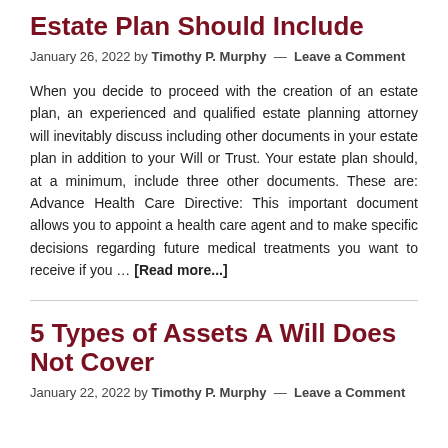Estate Plan Should Include
January 26, 2022 by Timothy P. Murphy — Leave a Comment
When you decide to proceed with the creation of an estate plan, an experienced and qualified estate planning attorney will inevitably discuss including other documents in your estate plan in addition to your Will or Trust. Your estate plan should, at a minimum, include three other documents. These are: Advance Health Care Directive: This important document allows you to appoint a health care agent and to make specific decisions regarding future medical treatments you want to receive if you … [Read more...]
5 Types of Assets A Will Does Not Cover
January 22, 2022 by Timothy P. Murphy — Leave a Comment